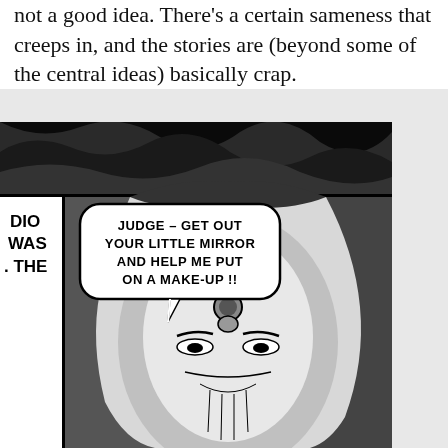not a good idea. There's a certain sameness that creeps in, and the stories are (beyond some of the central ideas) basically crap.
[Figure (illustration): A black and white comic book panel scan. Top portion shows a dark swirling abstract background panel. Bottom portion shows two comic panels: left panel shows partial text 'DIO WAS THE' and right panel features a close-up of a fantastical character's face with wild hair/fur, wearing a helmet or horned headpiece, with a speech bubble reading 'JUDGE – GET OUT YOUR LITTLE MIRROR AND HELP ME PUT ON A MAKE-UP!!']